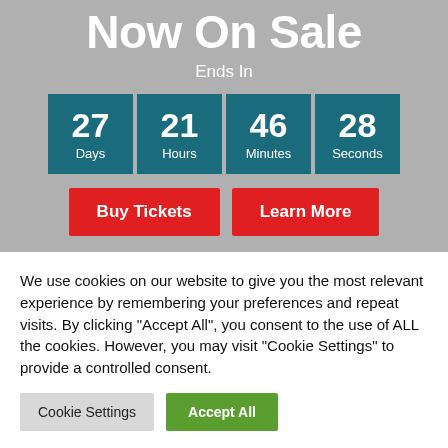Now On Sale
Ends In
[Figure (infographic): Countdown timer showing 27 Days, 21 Hours, 46 Minutes, 28 Seconds in teal boxes]
Buy Tickets
Learn More
We use cookies on our website to give you the most relevant experience by remembering your preferences and repeat visits. By clicking "Accept All", you consent to the use of ALL the cookies. However, you may visit "Cookie Settings" to provide a controlled consent.
Cookie Settings
Accept All